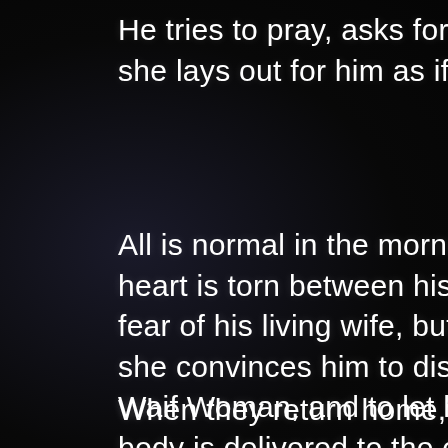He tries to pray, asks for fo
she lays out for him as if in
All is normal in the morning
heart is torn between his fe
fear of his living wife, but a
she convinces him to disre
Waif Woman, and to let her
body is delivered to the ch
When they return home, ho